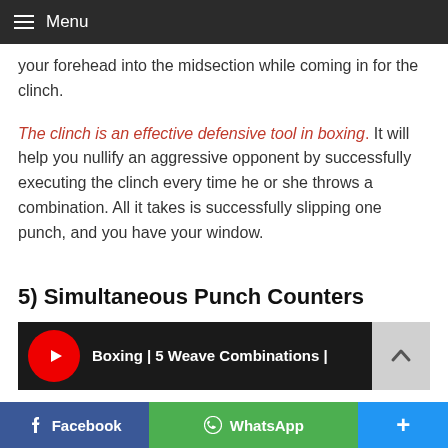Menu
your forehead into the midsection while coming in for the clinch.
The clinch is an effective defensive tool in boxing. It will help you nullify an aggressive opponent by successfully executing the clinch every time he or she throws a combination. All it takes is successfully slipping one punch, and you have your window.
5) Simultaneous Punch Counters
[Figure (screenshot): YouTube video thumbnail showing 'Boxing | 5 Weave Combinations |' with red YouTube logo icon, dark background, and a three-dot menu icon. A scroll-to-top button is visible at the right.]
Facebook   WhatsApp   +